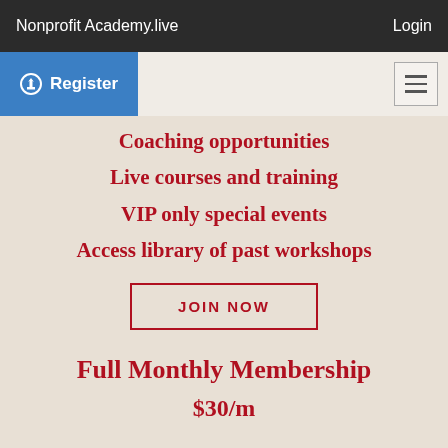Nonprofit Academy.live   Login
Register
Coaching opportunities
Live courses and training
VIP only special events
Access library of past workshops
JOIN NOW
Full Monthly Membership
$30/m